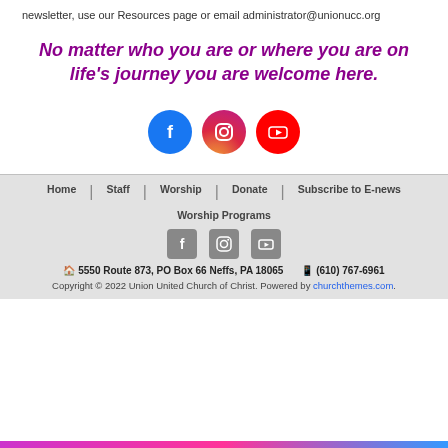newsletter, use our Resources page or email administrator@unionucc.org
No matter who you are or where you are on life's journey you are welcome here.
[Figure (infographic): Three social media icons: Facebook (blue circle), Instagram (pink/magenta gradient circle), YouTube (red circle)]
Home | Staff | Worship | Donate | Subscribe to E-news | Worship Programs
[Facebook icon] [Instagram icon] [YouTube icon]
5550 Route 873, PO Box 66 Neffs, PA 18065   (610) 767-6961
Copyright © 2022 Union United Church of Christ. Powered by churchthemes.com.